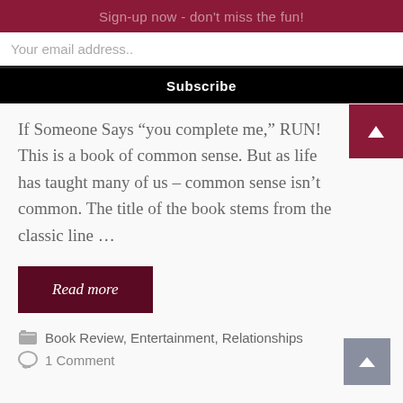Sign-up now - don't miss the fun!
Your email address..
Subscribe
If Someone Says “you complete me,” RUN! This is a book of common sense. But as life has taught many of us – common sense isn’t common. The title of the book stems from the classic line ...
Read more
Book Review, Entertainment, Relationships
1 Comment